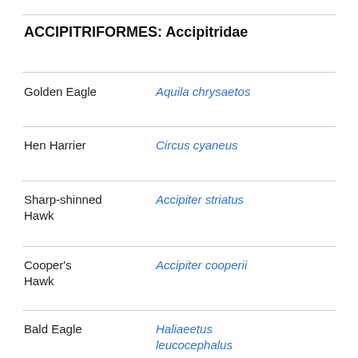ACCIPITRIFORMES: Accipitridae
| Common Name | Scientific Name |
| --- | --- |
| Golden Eagle | Aquila chrysaetos |
| Hen Harrier | Circus cyaneus |
| Sharp-shinned Hawk | Accipiter striatus |
| Cooper's Hawk | Accipiter cooperii |
| Bald Eagle | Haliaeetus leucocephalus |
| Broad-winged | Buteo platypterus |